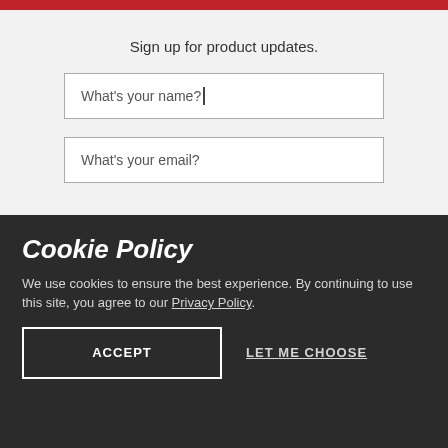Sign up for product updates.
What's your name?
What's your email?
Cookie Policy
We use cookies to ensure the best experience. By continuing to use this site, you agree to our Privacy Policy.
ACCEPT
LET ME CHOOSE